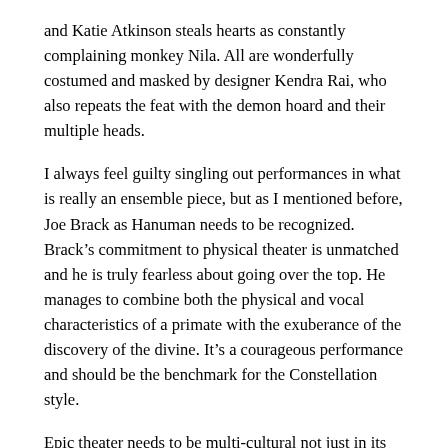and Katie Atkinson steals hearts as constantly complaining monkey Nila. All are wonderfully costumed and masked by designer Kendra Rai, who also repeats the feat with the demon hoard and their multiple heads.
I always feel guilty singling out performances in what is really an ensemble piece, but as I mentioned before, Joe Brack as Hanuman needs to be recognized. Brack's commitment to physical theater is unmatched and he is truly fearless about going over the top. He manages to combine both the physical and vocal characteristics of a primate with the exuberance of the discovery of the divine. It's a courageous performance and should be the benchmark for the Constellation style.
Epic theater needs to be multi-cultural not just in its subject matter but in its casting as well, and though I understand Constellation is a small company with a core group of talented actors, frankly for a global epic I wished it could've involved more diversity. But that's a